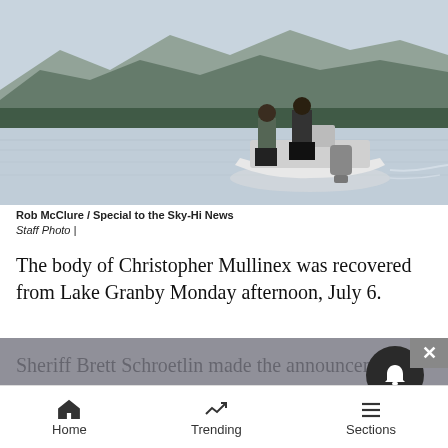[Figure (photo): Two law enforcement officers standing on a white motorboat on a lake with mountains in the background, conducting a water search/recovery operation.]
Rob McClure / Special to the Sky-Hi News
Staff Photo |
The body of Christopher Mullinex was recovered from Lake Granby Monday afternoon, July 6.
Sheriff Brett Schroetlin made the announcement at 1:07 p.m.
Home   Trending   Sections